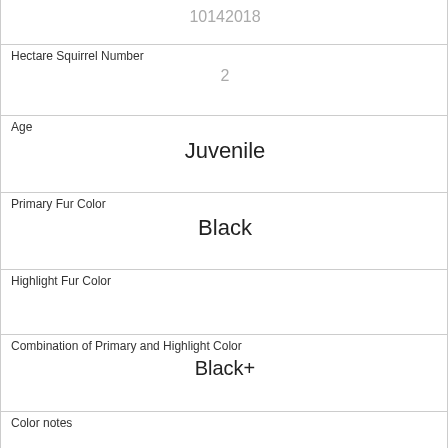| 10142018 |
| Hectare Squirrel Number | 2 |
| Age | Juvenile |
| Primary Fur Color | Black |
| Highlight Fur Color |  |
| Combination of Primary and Highlight Color | Black+ |
| Color notes |  |
| Location | Above Ground |
| Above Ground Sighter Measurement | 10 |
| Specific Location |  |
| Running | 0 |